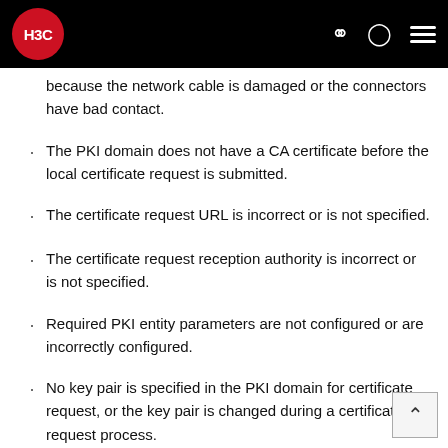H3C
because the network cable is damaged or the connectors have bad contact.
The PKI domain does not have a CA certificate before the local certificate request is submitted.
The certificate request URL is incorrect or is not specified.
The certificate request reception authority is incorrect or is not specified.
Required PKI entity parameters are not configured or are incorrectly configured.
No key pair is specified in the PKI domain for certificate request, or the key pair is changed during a certificate request process.
Exclusive certificate request applications are running in the PKI domain.